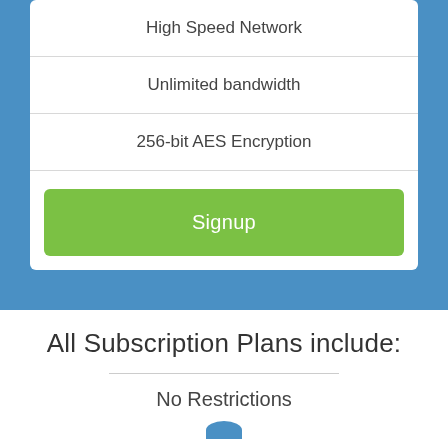High Speed Network
Unlimited bandwidth
256-bit AES Encryption
Signup
All Subscription Plans include:
No Restrictions